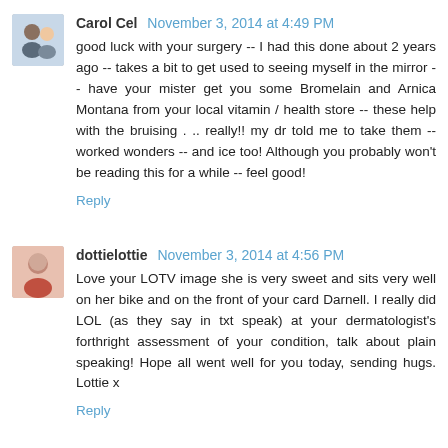[Figure (photo): Small avatar photo of Carol Cel, showing two people]
Carol Cel  November 3, 2014 at 4:49 PM
good luck with your surgery -- I had this done about 2 years ago -- takes a bit to get used to seeing myself in the mirror -- have your mister get you some Bromelain and Arnica Montana from your local vitamin / health store -- these help with the bruising . .. really!! my dr told me to take them -- worked wonders -- and ice too! Although you probably won't be reading this for a while -- feel good!
Reply
[Figure (photo): Small avatar photo of dottielottie, a woman in a pink top]
dottielottie  November 3, 2014 at 4:56 PM
Love your LOTV image she is very sweet and sits very well on her bike and on the front of your card Darnell. I really did LOL (as they say in txt speak) at your dermatologist's forthright assessment of your condition, talk about plain speaking! Hope all went well for you today, sending hugs. Lottie x
Reply